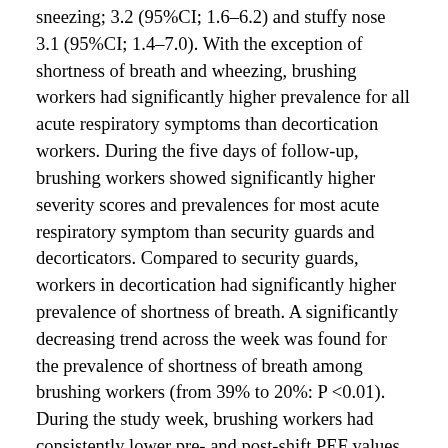sneezing; 3.2 (95%CI; 1.6–6.2) and stuffy nose 3.1 (95%CI; 1.4–7.0). With the exception of shortness of breath and wheezing, brushing workers had significantly higher prevalence for all acute respiratory symptoms than decortication workers. During the five days of follow-up, brushing workers showed significantly higher severity scores and prevalences for most acute respiratory symptom than security guards and decorticators. Compared to security guards, workers in decortication had significantly higher prevalence of shortness of breath. A significantly decreasing trend across the week was found for the prevalence of shortness of breath among brushing workers (from 39% to 20%: P <0.01). During the study week, brushing workers had consistently lower pre- and post-shift PEF values than decortication workers and security guards. Brushing workers reported the highest prevalence of all chronic respiratory symptoms, and compared to security guards they had a significantly higher prevalence of chest tightness (48% versus 3%) and chronic sputum (30% versus 3%).